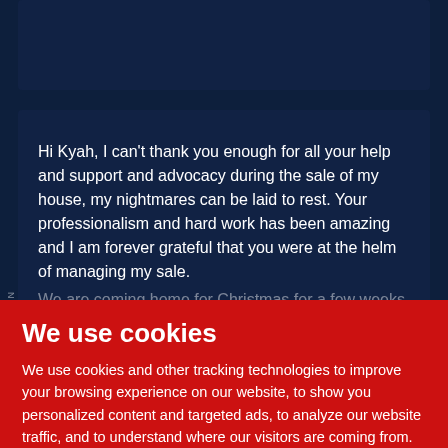[Figure (screenshot): Dark navy blue card at the top, partially visible]
Hi Kyah, I can't thank you enough for all your help and support and advocacy during the sale of my house, my nightmares can be laid to rest. Your professionalism and hard work has been amazing and I am forever grateful that you were at the helm of managing my sale. We are coming home for Christmas for a few weeks and I am definitely going to pop in and see you. It will be lovely to put a face to the name. Thanks Again. Take Care.
We use cookies
We use cookies and other tracking technologies to improve your browsing experience on our website, to show you personalized content and targeted ads, to analyze our website traffic, and to understand where our visitors are coming from.